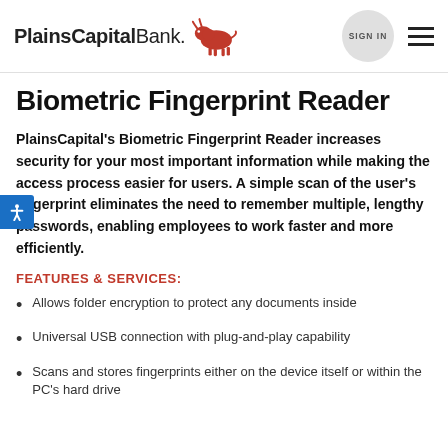PlainsCapitalBank. SIGN IN
Biometric Fingerprint Reader
PlainsCapital's Biometric Fingerprint Reader increases security for your most important information while making the access process easier for users. A simple scan of the user's fingerprint eliminates the need to remember multiple, lengthy passwords, enabling employees to work faster and more efficiently.
FEATURES & SERVICES:
Allows folder encryption to protect any documents inside
Universal USB connection with plug-and-play capability
Scans and stores fingerprints either on the device itself or within the PC's hard drive